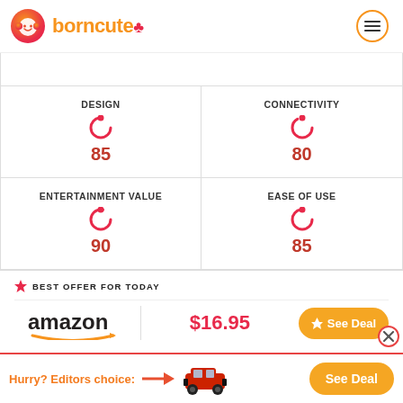borncute
| DESIGN | CONNECTIVITY |
| --- | --- |
| 85 | 80 |
| ENTERTAINMENT VALUE | EASE OF USE |
| 90 | 85 |
BEST OFFER FOR TODAY
amazon $16.95 See Deal
Hurry? Editors choice: See Deal